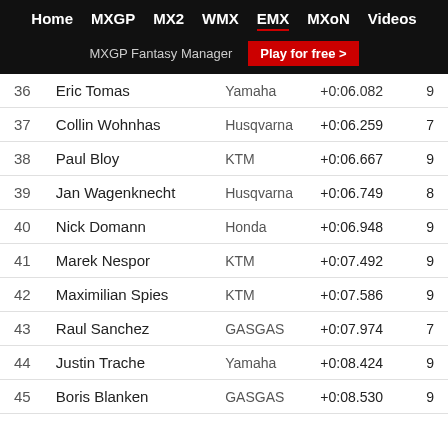Home MXGP MX2 WMX EMX MXoN Videos | MXGP Fantasy Manager Play for free >
| # | Name | Brand | Time | Laps |
| --- | --- | --- | --- | --- |
| 36 | Eric Tomas | Yamaha | +0:06.082 | 9 |
| 37 | Collin Wohnhas | Husqvarna | +0:06.259 | 7 |
| 38 | Paul Bloy | KTM | +0:06.667 | 9 |
| 39 | Jan Wagenknecht | Husqvarna | +0:06.749 | 8 |
| 40 | Nick Domann | Honda | +0:06.948 | 9 |
| 41 | Marek Nespor | KTM | +0:07.492 | 9 |
| 42 | Maximilian Spies | KTM | +0:07.586 | 9 |
| 43 | Raul Sanchez | GASGAS | +0:07.974 | 7 |
| 44 | Justin Trache | Yamaha | +0:08.424 | 9 |
| 45 | Boris Blanken | GASGAS | +0:08.530 | 9 |